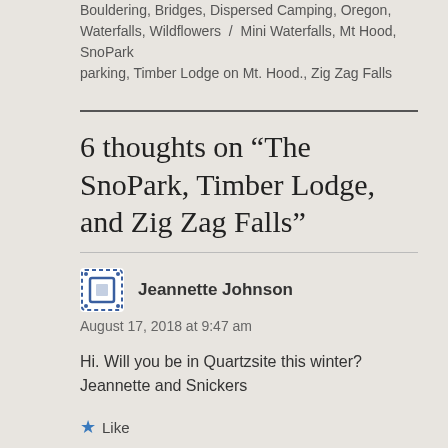Bouldering, Bridges, Dispersed Camping, Oregon, Waterfalls, Wildflowers / Mini Waterfalls, Mt Hood, SnoPark parking, Timber Lodge on Mt. Hood., Zig Zag Falls
6 thoughts on “The SnoPark, Timber Lodge, and Zig Zag Falls”
Jeannette Johnson
August 17, 2018 at 9:47 am
Hi. Will you be in Quartzsite this winter? Jeannette and Snickers
Like